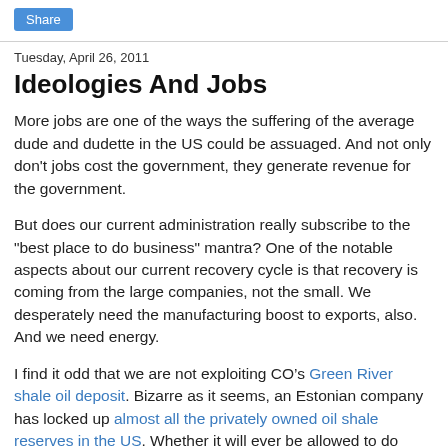Share
Tuesday, April 26, 2011
Ideologies And Jobs
More jobs are one of the ways the suffering of the average dude and dudette in the US could be assuaged. And not only don't jobs cost the government, they generate revenue for the government.
But does our current administration really subscribe to the "best place to do business" mantra? One of the notable aspects about our current recovery cycle is that recovery is coming from the large companies, not the small. We desperately need the manufacturing boost to exports, also. And we need energy.
I find it odd that we are not exploiting CO’s Green River shale oil deposit. Bizarre as it seems, an Estonian company has locked up almost all the privately owned oil shale reserves in the US. Whether it will ever be allowed to do anything with them is questionable; eventually it will probably let the sites to private companies when an outraged US public demands gas at something